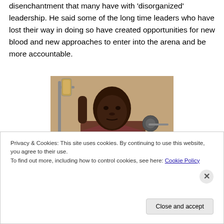prone incidents of corruption which has contributed to the disenchantment that many have with 'disorganized' leadership. He said some of the long time leaders who have lost their way in doing so have created opportunities for new blood and new approaches to enter into the arena and be more accountable.
[Figure (photo): A young man near a microphone in a recording studio setting, looking directly at the camera]
Privacy & Cookies: This site uses cookies. By continuing to use this website, you agree to their use.
To find out more, including how to control cookies, see here: Cookie Policy